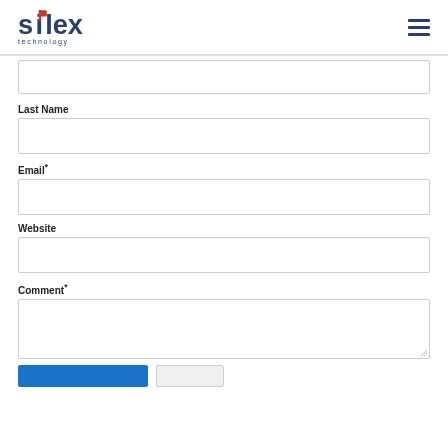Silex Technology
Last Name
Email*
Website
Comment*